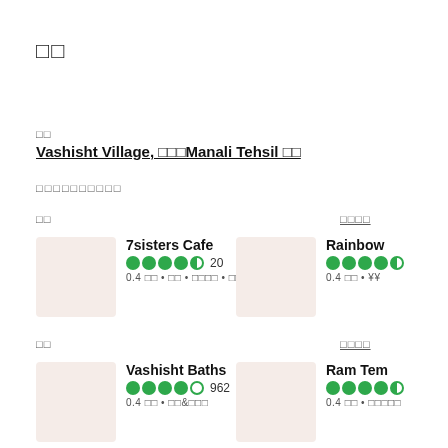□□
□□
Vashisht Village, □□□Manali Tehsil □□
□□□□□□□□□□
□□
□□□□
7sisters Cafe, 4.5 stars, 20 reviews, 0.4 □□ • □□ • □□□□ • □□□ • □□□□
Rainbow, 4.5 stars, 0.4 □□ • ¥¥
□□
□□□□
Vashisht Baths, 4.0 stars, 962 reviews, 0.4 □□ • □□&□□□
Ram Tem..., 4.5 stars, 0.4 □□ • □□□□□